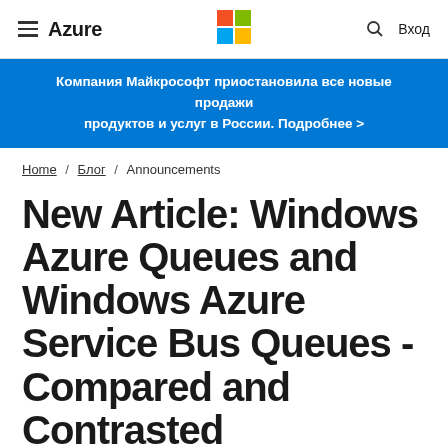Azure
Компания Майкрософт приостановила все новые продажи продуктов и услуг в России. Подробнее >
Home / Блог / Announcements
New Article: Windows Azure Queues and Windows Azure Service Bus Queues - Compared and Contrasted
Опубликовано 17 января, 2013